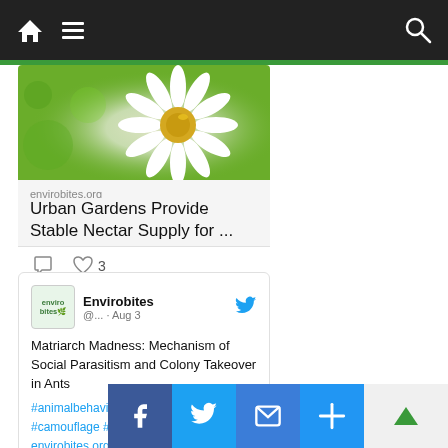[Figure (screenshot): Navigation bar with home icon, hamburger menu, and search icon on dark background]
[Figure (photo): Photo of a daisy flower with bee, green bokeh background]
envirobites.org
Urban Gardens Provide Stable Nectar Supply for ...
♡ 3
[Figure (logo): Envirobites logo with leaf graphic]
Envirobites @... · Aug 3
Matriarch Madness: Mechanism of Social Parasitism and Colony Takeover in Ants
#animalbehavior #camouflage #ecosystems envirobites.org/2022/08/03/
[Figure (screenshot): Social share bar with Facebook, Twitter, Email, and More buttons]